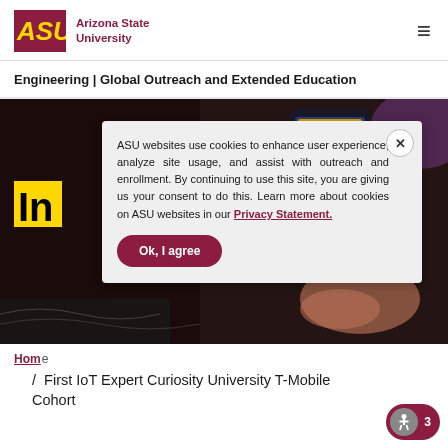ASU Arizona State University
Engineering | Global Outreach and Extended Education
[Figure (screenshot): Hero image of a person holding a smartphone with ASU branding, dark blurred background]
ASU websites use cookies to enhance user experience, analyze site usage, and assist with outreach and enrollment. By continuing to use this site, you are giving us your consent to do this. Learn more about cookies on ASU websites in our Privacy Statement.
Ok, I agree
Home / First IoT Expert Curiosity University T-Mobile Cohort